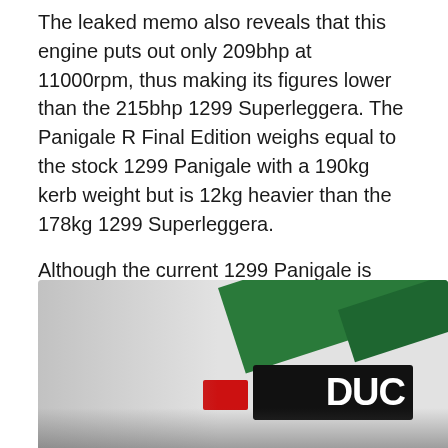The leaked memo also reveals that this engine puts out only 209bhp at 11000rpm, thus making its figures lower than the 215bhp 1299 Superleggera. The Panigale R Final Edition weighs equal to the stock 1299 Panigale with a 190kg kerb weight but is 12kg heavier than the 178kg 1299 Superleggera.
Although the current 1299 Panigale is Euro 3 compliant, the teaser has revealed that the new bike features the same titanium exhaust as the Superleggera. This is done to help the bikes pass the strict Euro 4 emission norms. The 1299 R Final Edition will be a 2018 model and will sell alongside the Ducati’s new V4 superbike, slated to be launched by the end of this year.
[Figure (photo): Close-up photo of a Ducati motorcycle fairing showing white bodywork with green stripes and partial Ducati logo text visible at the bottom right]